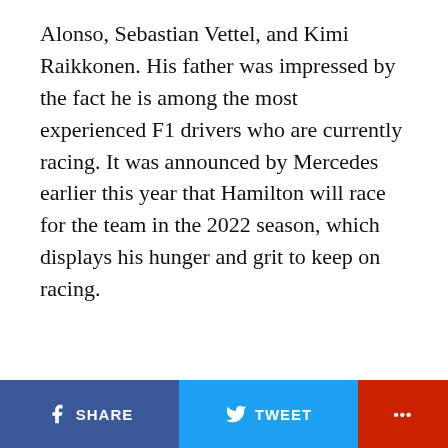Alonso, Sebastian Vettel, and Kimi Raikkonen. His father was impressed by the fact he is among the most experienced F1 drivers who are currently racing. It was announced by Mercedes earlier this year that Hamilton will race for the team in the 2022 season, which displays his hunger and grit to keep on racing.
SHARE  TWEET  ...